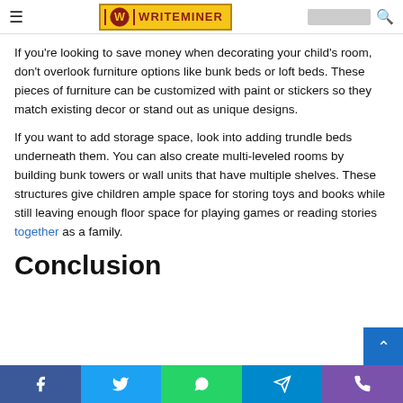WRITEMINER
If you're looking to save money when decorating your child's room, don't overlook furniture options like bunk beds or loft beds. These pieces of furniture can be customized with paint or stickers so they match existing decor or stand out as unique designs.
If you want to add storage space, look into adding trundle beds underneath them. You can also create multi-leveled rooms by building bunk towers or wall units that have multiple shelves. These structures give children ample space for storing toys and books while still leaving enough floor space for playing games or reading stories together as a family.
Conclusion
Facebook Twitter WhatsApp Telegram Phone